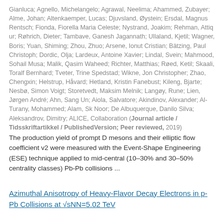Gianluca; Agnello, Michelangelo; Agrawal, Neelima; Ahammed, Zubayer; Alme, Johan; Altenkaemper, Lucas; Djuvsland, Øystein; Ersdal, Magnus Rentsch; Fionda, Fiorella Maria Celeste; Nystrand, Joakim; Rehman, Attiq ur; Røhrich, Dieter; Tambave, Ganesh Jagannath; Ullaland, Kjetil; Wagner, Boris; Yuan, Shiming; Zhou, Zhuo; Arsene, Ionut Cristian; Bätzing, Paul Christoph; Dordic, Olja; Lardeux, Antoine Xavier; Lindal, Svein; Mahmood, Sohail Musa; Malik, Qasim Waheed; Richter, Matthias; Røed, Ketil; Skaali, Toralf Bernhard; Tveter, Trine Spedstad; Wikne, Jon Christopher; Zhao, Chengxin; Helstrup, Håvard; Hetland, Kristin Fanebust; Kileng, Bjarte; Nesbø, Simon Voigt; Storetvedt, Maksim Melnik; Langøy, Rune; Lien, Jørgen André; Ahn, Sang Un; Aiola, Salvatore; Akindinov, Alexander; Al-Turany, Mohammed; Alam, Sk Noor; De Albuquerque, Danilo Silva; Aleksandrov, Dimitry; ALICE, Collaboration (Journal article / Tidsskriftartikkel / PublishedVersion; Peer reviewed, 2019)
The production yield of prompt D mesons and their elliptic flow coefficient v2 were measured with the Event-Shape Engineering (ESE) technique applied to mid-central (10–30% and 30–50% centrality classes) Pb-Pb collisions ...
Azimuthal Anisotropy of Heavy-Flavor Decay Electrons in p-Pb Collisions at √sNN=5.02 TeV